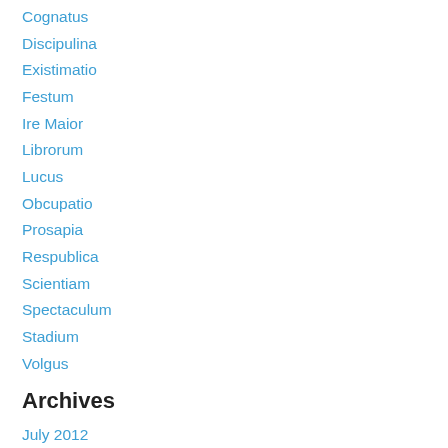Cognatus
Discipulina
Existimatio
Festum
Ire Maior
Librorum
Lucus
Obcupatio
Prosapia
Respublica
Scientiam
Spectaculum
Stadium
Volgus
Archives
July 2012
March 2012
February 2012
January 2012
May 2011